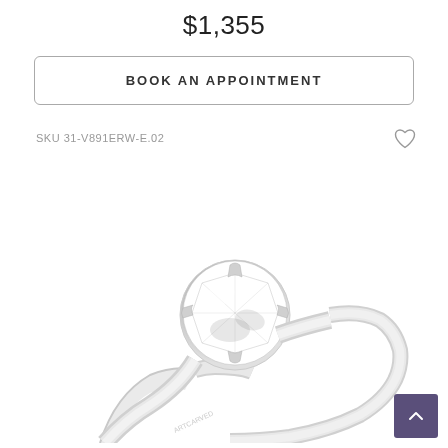$1,355
BOOK AN APPOINTMENT
SKU 31-V891ERW-E.02
[Figure (photo): A diamond solitaire engagement ring with a round brilliant-cut diamond set in a four-prong setting on a plain white gold band. The band is engraved with 'ARTCARVED' on the inside. The ring is photographed against a white background.]